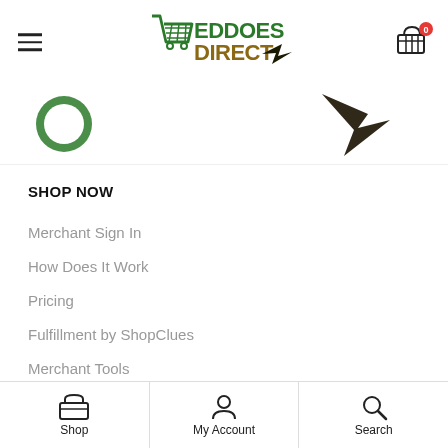Eddoes Direct — header with hamburger menu, logo, and cart icon
[Figure (logo): Eddoes Direct logo with green shopping cart and stylized text, partially visible banner strip below]
SHOP NOW
Merchant Sign In
How Does It Work
Pricing
Fulfillment by ShopClues
Merchant Tools
Shop | My Account | Search